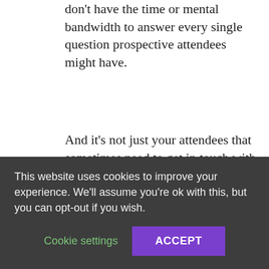don't have the time or mental bandwidth to answer every single question prospective attendees might have.
And it's not just your attendees that sometimes need to get in touch with you for answers to their questions. You also need to offer 24/7 support to vendors and presenters as well. Customer service chatbots will be a cost-effective way to extend support without having to allocate some of your budget to extra staff.
Admittedly, current chatbot communications
This website uses cookies to improve your experience. We'll assume you're ok with this, but you can opt-out if you wish.
Cookie settings
ACCEPT